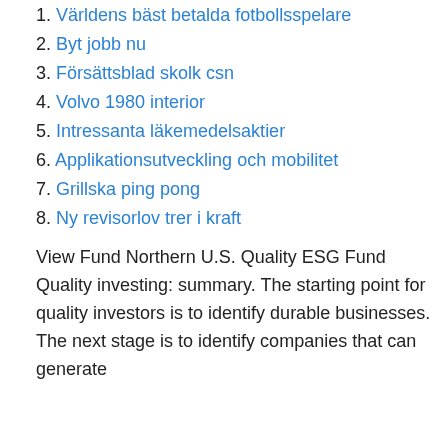1. Världens bäst betalda fotbollsspelare
2. Byt jobb nu
3. Försättsblad skolk csn
4. Volvo 1980 interior
5. Intressanta läkemedelsaktier
6. Applikationsutveckling och mobilitet
7. Grillska ping pong
8. Ny revisorlov trer i kraft
View Fund Northern U.S. Quality ESG Fund Quality investing: summary. The starting point for quality investors is to identify durable businesses. The next stage is to identify companies that can generate